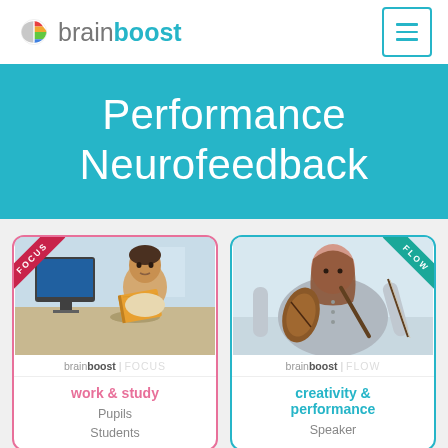brainboost
Performance Neurofeedback
[Figure (screenshot): Card showing a man reading a book at a desk with FOCUS ribbon, brainboost FOCUS label, 'work & study' in pink, Pupils, Students text]
brainboost | FOCUS
work & study
Pupils
Students
[Figure (screenshot): Card showing a woman playing violin with FLOW ribbon, brainboost FLOW label, 'creativity & performance' in teal, Speaker text]
brainboost | FLOW
creativity & performance
Speaker